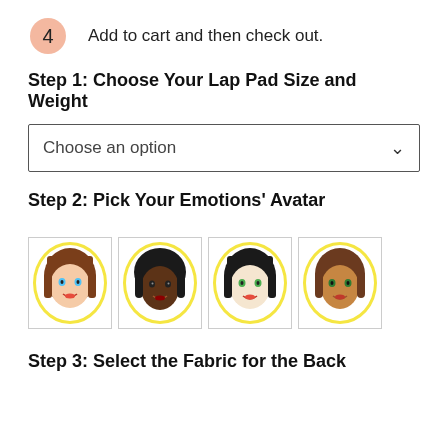4  Add to cart and then check out.
Step 1: Choose Your Lap Pad Size and Weight
Choose an option
Step 2: Pick Your Emotions' Avatar
[Figure (illustration): Four cartoon avatar faces with yellow circular halos, each in a bordered box. From left to right: girl with brown hair and bangs (light skin), girl with dark skin and black hair, girl with black hair and bangs (light skin), girl with brown hair (medium skin).]
Step 3: Select the Fabric for the Back